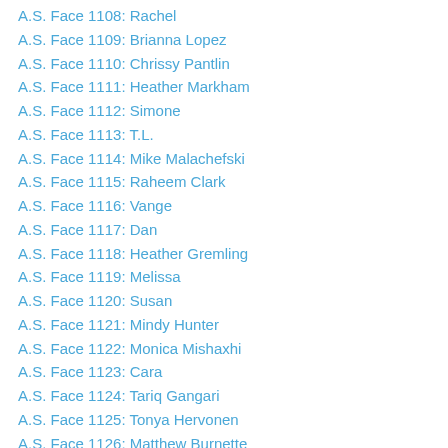A.S. Face 1108: Rachel
A.S. Face 1109: Brianna Lopez
A.S. Face 1110: Chrissy Pantlin
A.S. Face 1111: Heather Markham
A.S. Face 1112: Simone
A.S. Face 1113: T.L.
A.S. Face 1114: Mike Malachefski
A.S. Face 1115: Raheem Clark
A.S. Face 1116: Vange
A.S. Face 1117: Dan
A.S. Face 1118: Heather Gremling
A.S. Face 1119: Melissa
A.S. Face 1120: Susan
A.S. Face 1121: Mindy Hunter
A.S. Face 1122: Monica Mishaxhi
A.S. Face 1123: Cara
A.S. Face 1124: Tariq Gangari
A.S. Face 1125: Tonya Hervonen
A.S. Face 1126: Matthew Burnette
A.S. Face 1127: Jackie Palumbo